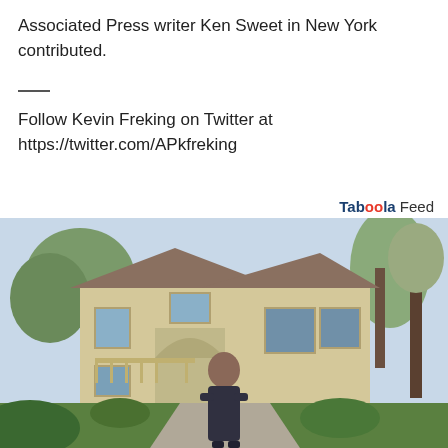Associated Press writer Ken Sweet in New York contributed.
Follow Kevin Freking on Twitter at https://twitter.com/APkfreking
Taboola Feed
[Figure (photo): A woman in a dark sleeveless dress standing in front of a large suburban house with trees and greenery, on a paved driveway.]